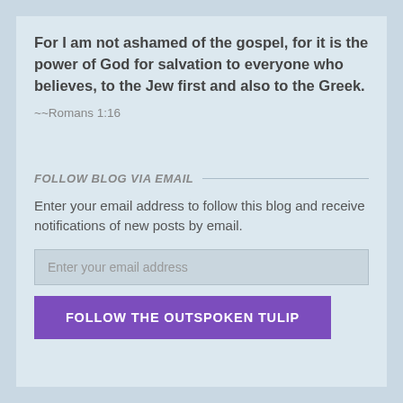For I am not ashamed of the gospel, for it is the power of God for salvation to everyone who believes, to the Jew first and also to the Greek.
~~Romans 1:16
FOLLOW BLOG VIA EMAIL
Enter your email address to follow this blog and receive notifications of new posts by email.
Enter your email address
FOLLOW THE OUTSPOKEN TULIP